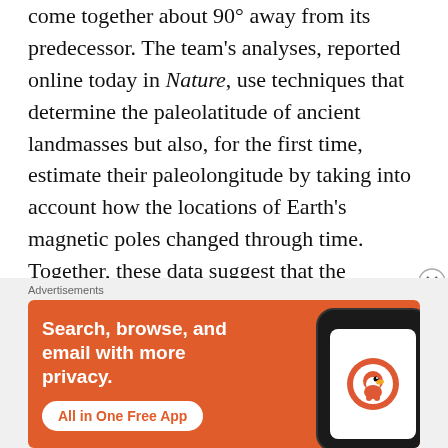come together about 90° away from its predecessor. The team's analyses, reported online today in Nature, use techniques that determine the paleolatitude of ancient landmasses but also, for the first time, estimate their paleolongitude by taking into account how the locations of Earth's magnetic poles changed through time. Together, these data suggest that the geographic center of Rodinia was located about 88° away from the center of Nuna, and the center of Pangaea—which was located near present-day Africa—sat about 87° from Rodinia's
[Figure (illustration): DuckDuckGo advertisement banner with orange background showing 'Search, browse, and email with more privacy. All in One Free App' text and a phone mockup with DuckDuckGo logo]